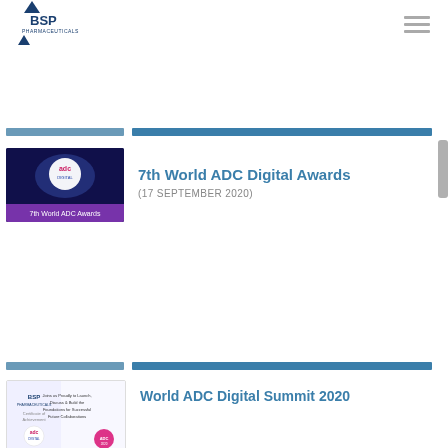[Figure (logo): BSP Pharmaceuticals logo with blue arrow accents]
[Figure (other): Hamburger menu icon]
[Figure (photo): 7th World ADC Awards event thumbnail image with dark blue background and ADC logo]
7th World ADC Digital Awards
(17 SEPTEMBER 2020)
[Figure (photo): World ADC Digital Summit 2020 certificate/document thumbnail with BSP and ADC logos]
World ADC Digital Summit 2020